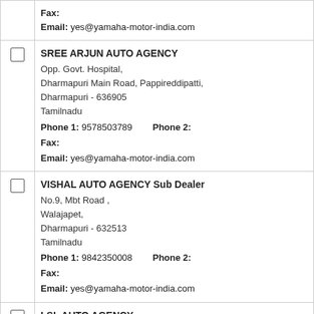| [checkbox] | Fax:
Email: yes@yamaha-motor-india.com |
| [checkbox] | SREE ARJUN AUTO AGENCY
Opp. Govt. Hospital,
Dharmapuri Main Road, Pappireddipatti,
Dharmapuri - 636905
Tamilnadu
Phone 1: 9578503789   Phone 2:
Fax:
Email: yes@yamaha-motor-india.com |
| [checkbox] | VISHAL AUTO AGENCY Sub Dealer
No.9, Mbt Road ,
Walajapet,
Dharmapuri - 632513
Tamilnadu
Phone 1: 9842350008   Phone 2:
Fax:
Email: yes@yamaha-motor-india.com |
| [checkbox] | LSL AUTO AGENCY
Irc Complex, Shoolagiri Town Rd,
Opp Rajaji Nagar, Shoolagiri Town,
Dharmapuri - 635117
Tamilnadu
Phone 1: 9894234079   Phone 2:
Fax:
Email: yes@yamaha-motor-india.com |
| [checkbox] | Sri Venkateshwara Honda... |